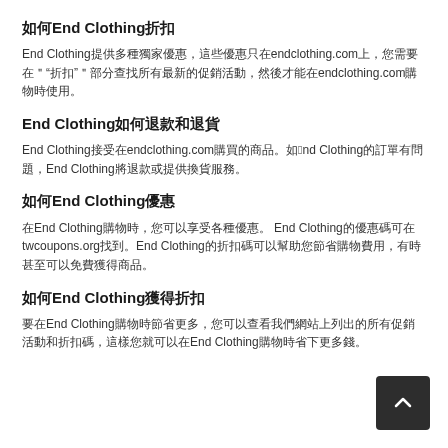如何End Clothing折扣
End Clothing提供多種獨家優惠，這些優惠只在endclothing.com上提供。您需要在'折扣'部分查找所有最新的促銷活動，然後才能在endclothing.com購物時使用。
End Clothing如何退款和退貨
End Clothing接受在endclothing.com購買的商品。如果End Clothing的訂單有問題，End Clothing將退款或提供換貨服務。
如何End Clothing優惠
在End Clothing購物時，您可以享受各種優惠。 End Clothing的優惠碼可在twcoupons.org找到。End Clothing的折扣碼可以幫助您節省購物費用，有時甚至可以免費獲得商品。
如何End Clothing獲得折扣
要在End Clothing購物時節省更多，您可以查看我們網站上列出的所有促銷活動和折扣碼，這樣您就可以在End Clothing購物時省下更多錢。